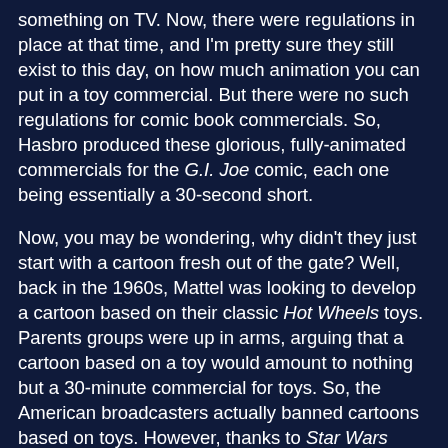something on TV. Now, there were regulations in place at that time, and I'm pretty sure they still exist to this day, on how much animation you can put in a toy commercial. But there were no such regulations for comic book commercials. So, Hasbro produced these glorious, fully-animated commercials for the G.I. Joe comic, each one being essentially a 30-second short.

Now, you may be wondering, why didn't they just start with a cartoon fresh out of the gate? Well, back in the 1960s, Mattel was looking to develop a cartoon based on their classic Hot Wheels toys. Parents groups were up in arms, arguing that a cartoon based on a toy would amount to nothing but a 30-minute commercial for toys. So, the American broadcasters actually banned cartoons based on toys. However, thanks to Star Wars proving that you could still have a good media franchise be more than a toy commercial, and excessive lobbying from the toy industry, the ban was finally lifted in the early 1980s. Thanks to Hasbro having already developed the pipeline to produce their 30-second commercials, G.I. Joe: A Real American Hero was officially the first cartoon based on a toy when it